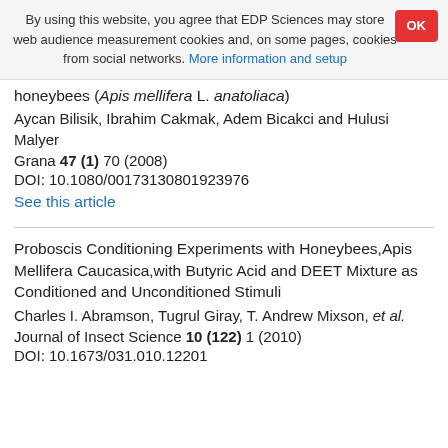By using this website, you agree that EDP Sciences may store web audience measurement cookies and, on some pages, cookies from social networks. More information and setup
honeybees (Apis mellifera L. anatoliaca)
Aycan Bilisik, Ibrahim Cakmak, Adem Bicakci and Hulusi Malyer
Grana 47 (1) 70 (2008)
DOI: 10.1080/00173130801923976
See this article
Proboscis Conditioning Experiments with Honeybees,Apis Mellifera Caucasica,with Butyric Acid and DEET Mixture as Conditioned and Unconditioned Stimuli
Charles I. Abramson, Tugrul Giray, T. Andrew Mixson, et al.
Journal of Insect Science 10 (122) 1 (2010)
DOI: 10.1673/031.010.12201